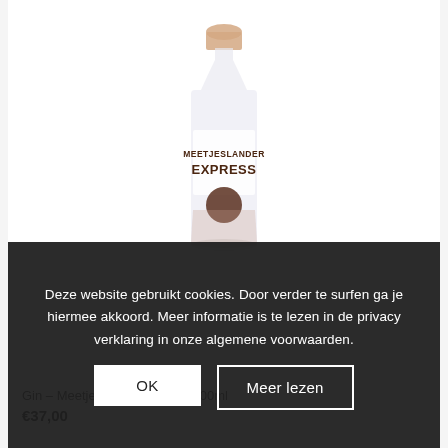[Figure (photo): Product photo of Meetjeslander Express gin bottle, 500ml, clear bottle with cork stopper, label reading MEETJESLANDER EXPRESS]
Deze website gebruikt cookies. Door verder te surfen ga je hiermee akkoord. Meer informatie is te lezen in de privacy verklaring in onze algemene voorwaarden.
OK
Meer lezen
Gin – Meetjeslander Express 500ml
€37,00